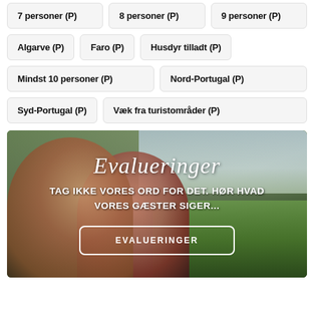7 personer (P)
8 personer (P)
9 personer (P)
Algarve (P)
Faro (P)
Husdyr tilladt (P)
Mindst 10 personer (P)
Nord-Portugal (P)
Syd-Portugal (P)
Væk fra turistområder (P)
[Figure (photo): Photo of two people (a couple) smiling outdoors with a scenic Portuguese landscape behind them including water and green hills. Overlaid text reads 'Evalueringer' in italic and 'TAG IKKE VORES ORD FOR DET. HØR HVAD VORES GÆSTER SIGER...' with a button labeled 'EVALUERINGER'.]